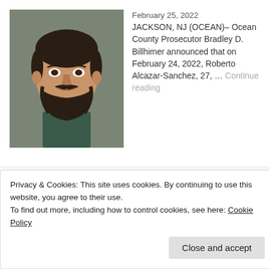[Figure (photo): Mugshot of Roberto Alcazar-Sanchez, a man with short dark hair and a full dark beard, wearing a dark shirt, against a neutral background.]
February 25, 2022 JACKSON, NJ (OCEAN)– Ocean County Prosecutor Bradley D. Billhimer announced that on February 24, 2022, Roberto Alcazar-Sanchez, 27, … Continue reading
[Figure (logo): MidJersey.News logo icon — New Jersey state outline with a star/flower graphic]
MidJersey.News
Privacy & Cookies: This site uses cookies. By continuing to use this website, you agree to their use.
To find out more, including how to control cookies, see here: Cookie Policy
Close and accept